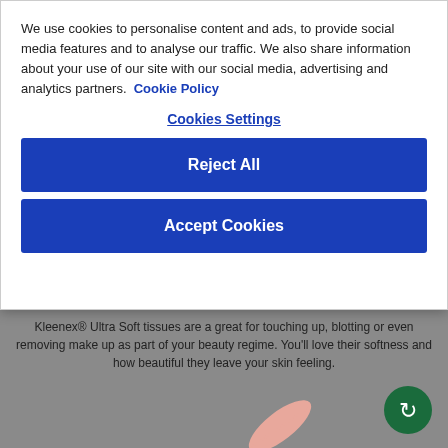We use cookies to personalise content and ads, to provide social media features and to analyse our traffic. We also share information about your use of our site with our social media, advertising and analytics partners.  Cookie Policy
Cookies Settings
Reject All
Accept Cookies
Kleenex® Ultra Soft tissues are a great for touching up, blotting or even removing make up as part of your beauty regime. You'll love their softness and how beautiful they leave your skin feeling.
[Figure (illustration): Pink feather illustration and green circular refresh icon on grey background]